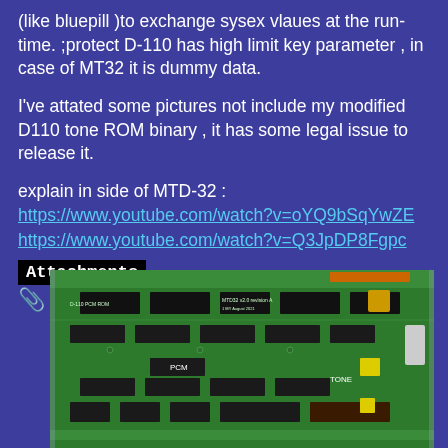(like bluepill )to exchange sysex vlaues at the run-time. ;protect D-110 has high limit key parameter , in case of MT32 it is dummy data.
I've attated some pictures not include my modified D110 tone ROM binary , it has some legal issue to release it.
explain in side of MTD-32 :
https://www.youtube.com/watch?v=oYQ9bSqYwZE
https://www.youtube.com/watch?v=Q3JpDP8Fgpc
Attachments
[Figure (photo): Green PCB circuit board showing D-110 PCM ROM and MTD-32 v2.0 revision A board with various ICs, chips labeled PCM and TONE areas, and various electronic components]